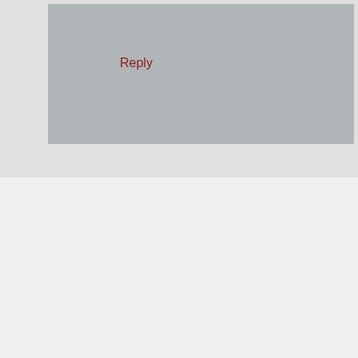Reply
Adam says
December 29, 2010 at 10:43 am
Nice goals!
With regards to remembering your dreams – check out books on lucid dreaming. Go for the most serious one you can find (not a popular pop-psychology one) and get stuck in. Taking